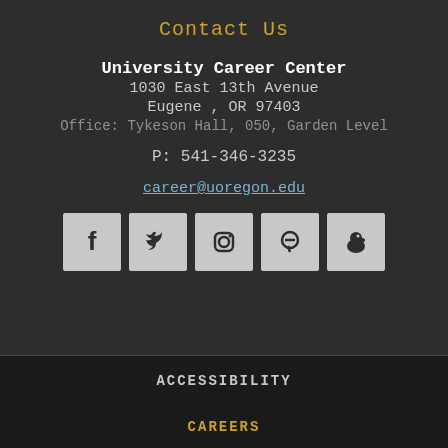Contact Us
University Career Center
1030 East 13th Avenue
Eugene , OR 97403
Office: Tykeson Hall, 050, Garden Level
P: 541-346-3235
career@uoregon.edu
[Figure (infographic): Row of 5 social media icon buttons: Facebook, Twitter, Instagram, Pinterest, and a duck/mascot icon, all on light gray square backgrounds]
ACCESSIBILITY
CAREERS